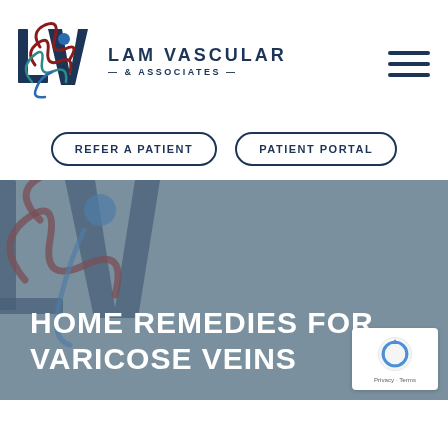[Figure (logo): Lam Vascular & Associates logo with stylized LV letters and person figure in blue and red, with company name text]
[Figure (other): Hamburger menu icon (three horizontal lines) in dark navy blue]
REFER A PATIENT
PATIENT PORTAL
[Figure (illustration): Hero banner with grey-blue background showing watermark of Lam Vascular logo and the text HOME REMEDIES FOR VARICOSE VEINS in white]
HOME REMEDIES FOR VARICOSE VEINS